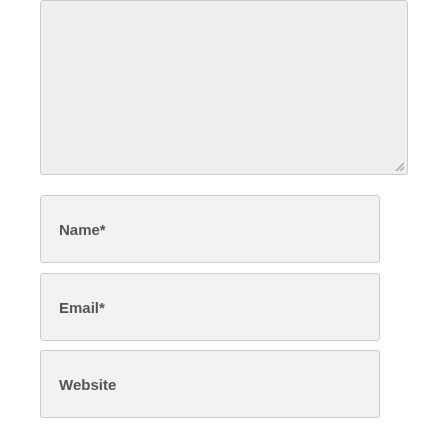[Figure (screenshot): Text area input box with gray background and resize handle]
Name*
Email*
Website
SUBMIT
RECENT POSTS
Alchemy CATALYST Crack Free Download
iBackup Viewer Key Free Download